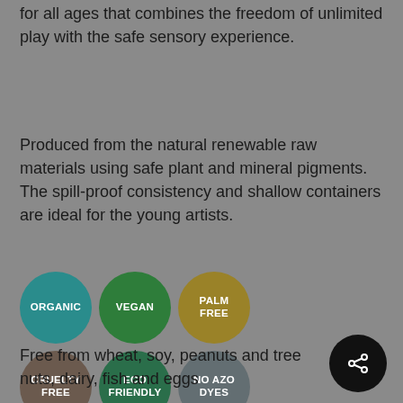for all ages that combines the freedom of unlimited play with the safe sensory experience.
Produced from the natural renewable raw materials using safe plant and mineral pigments. The spill-proof consistency and shallow containers are ideal for the young artists.
[Figure (infographic): Six circular certification badges in two rows: ORGANIC (teal), VEGAN (dark green), PALM FREE (olive/gold), CRUELTY FREE (brown), ECO FRIENDLY (green), NO AZO DYES (grey)]
Free from wheat, soy, peanuts and tree nuts, dairy, fish and eggs